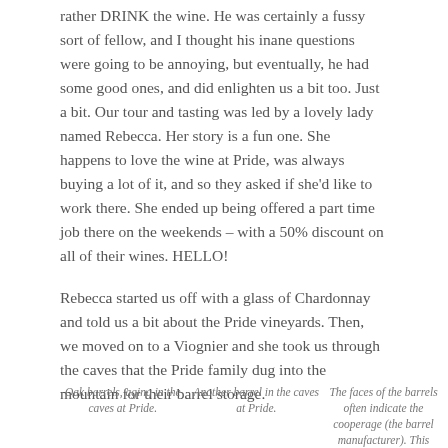rather DRINK the wine. He was certainly a fussy sort of fellow, and I thought his inane questions were going to be annoying, but eventually, he had some good ones, and did enlighten us a bit too. Just a bit. Our tour and tasting was led by a lovely lady named Rebecca. Her story is a fun one. She happens to love the wine at Pride, was always buying a lot of it, and so they asked if she'd like to work there. She ended up being offered a part time job there on the weekends – with a 50% discount on all of their wines. HELLO!
Rebecca started us off with a glass of Chardonnay and told us a bit about the Pride vineyards. Then, we moved on to a Viognier and she took us through the caves that the Pride family dug into the mountain for their barrel storage.
Oak barrels, aging in the caves at Pride.
Another barrel in the caves at Pride.
The faces of the barrels often indicate the cooperage (the barrel manufacturer). This